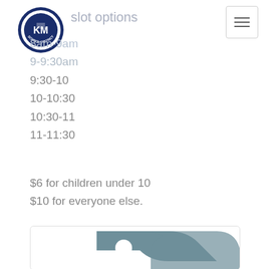[Figure (logo): Kettle Moraine School District circular logo with KM letters]
slot options
8am-9am
9-9:30am
9:30-10
10-10:30
10:30-11
11-11:30
$6 for children under 10
$10 for everyone else.
[Figure (illustration): Image placeholder with tag icon graphic in steel blue/gray color]